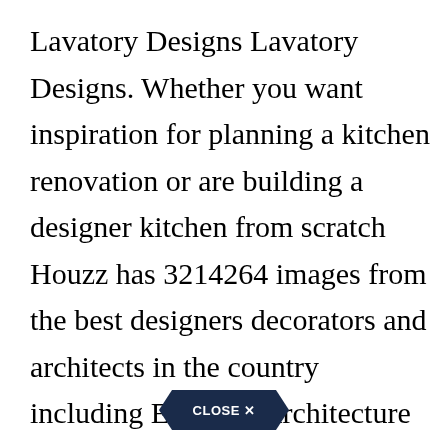Lavatory Designs Lavatory Designs. Whether you want inspiration for planning a kitchen renovation or are building a designer kitchen from scratch Houzz has 3214264 images from the best designers decorators and architects in the country including Elie Ben Architecture and Aidan Design. Aug 4 2013 - Explore Cyan Chiangs board lavatory design on Pinterest. The cost is similar. The deck-mount bath faucets feature DIAMOND Seal Technology and all faucets are WaterSense labeled